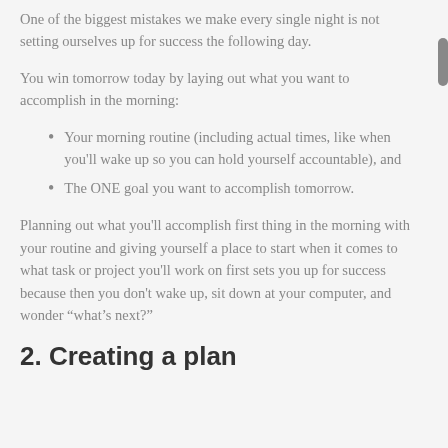One of the biggest mistakes we make every single night is not setting ourselves up for success the following day.
You win tomorrow today by laying out what you want to accomplish in the morning:
Your morning routine (including actual times, like when you'll wake up so you can hold yourself accountable), and
The ONE goal you want to accomplish tomorrow.
Planning out what you'll accomplish first thing in the morning with your routine and giving yourself a place to start when it comes to what task or project you'll work on first sets you up for success because then you don't wake up, sit down at your computer, and wonder “what’s next?”
2. Creating a plan